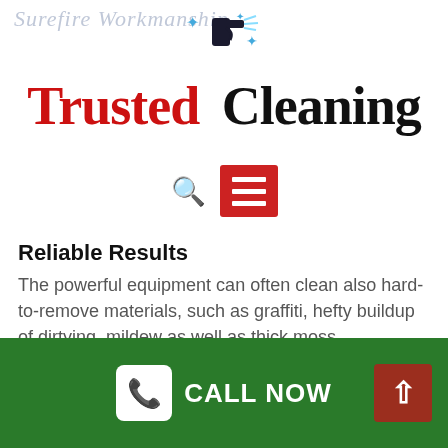Surefire Workmanship
[Figure (logo): Trusted Cleaning logo with spray bottle icon and sparkles]
[Figure (other): Navigation bar with search icon and red hamburger menu button]
Reliable Results
The powerful equipment can often clean also hard-to-remove materials, such as graffiti, hefty buildup of dirtying, mildew as well as thick moss.
Prolonged Longevity
When you consider cleansing your outside surfaces professionally as well as on a regular basis, you will
CALL NOW